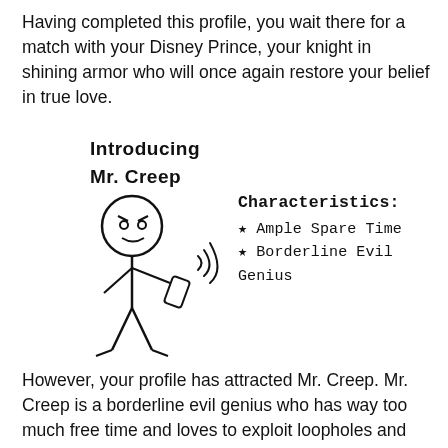Having completed this profile, you wait there for a match with your Disney Prince, your knight in shining armor who will once again restore your belief in true love.
[Figure (illustration): Stick figure labeled 'Mr. Creep' holding a phone with signal waves, looking angry, with arms and legs. To the right: 'Characteristics:' list with star bullets: 'Ample Spare Time' and 'Borderline Evil Genius'. Above the figure: 'Introducing Mr. Creep' text.]
However, your profile has attracted Mr. Creep. Mr. Creep is a borderline evil genius who has way too much free time and loves to exploit loopholes and weaknesses in systems. He also understands Science